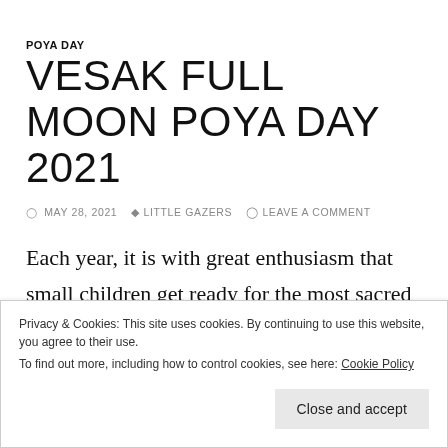POYA DAY
VESAK FULL MOON POYA DAY 2021
MAY 28, 2021  LITTLE GAZERS  LEAVE A COMMENT
Each year, it is with great enthusiasm that small children get ready for the most sacred Vesak festival celebration in Sri Lanka. It is the most
Privacy & Cookies: This site uses cookies. By continuing to use this website, you agree to their use.
To find out more, including how to control cookies, see here: Cookie Policy
Close and accept